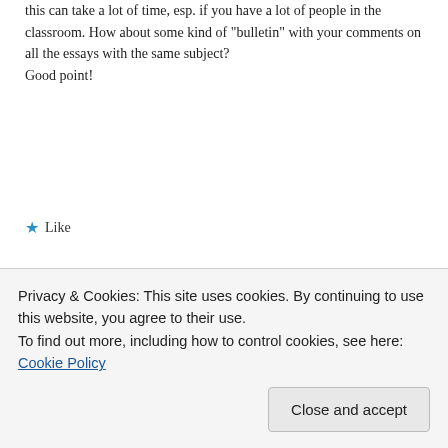this can take a lot of time, esp. if you have a lot of people in the classroom. How about some kind of “bulletin” with your comments on all the essays with the same subject?
Good point!
★ Like
Reply
Jasmina Kostoska | May 12, 2014 at 1:25 pm
Excellent article! I use some of this methods, too. And I will certainly use some of those that I haven’t used
Privacy & Cookies: This site uses cookies. By continuing to use this website, you agree to their use.
To find out more, including how to control cookies, see here: Cookie Policy